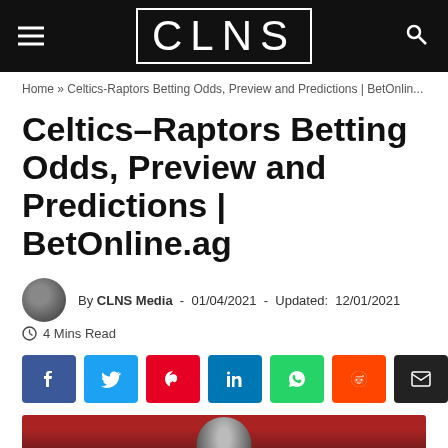CLNS
Home » Celtics-Raptors Betting Odds, Preview and Predictions | BetOnlin...
Celtics-Raptors Betting Odds, Preview and Predictions | BetOnline.ag
By CLNS Media - 01/04/2021 - Updated: 12/01/2021
4 Mins Read
[Figure (infographic): Social share buttons: Facebook, Twitter, Pinterest, LinkedIn, WhatsApp, Reddit, Email]
[Figure (photo): Basketball player photo with red and dark background]